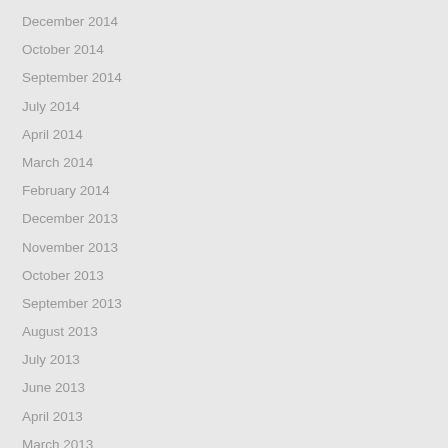December 2014
October 2014
September 2014
July 2014
April 2014
March 2014
February 2014
December 2013
November 2013
October 2013
September 2013
August 2013
July 2013
June 2013
April 2013
March 2013